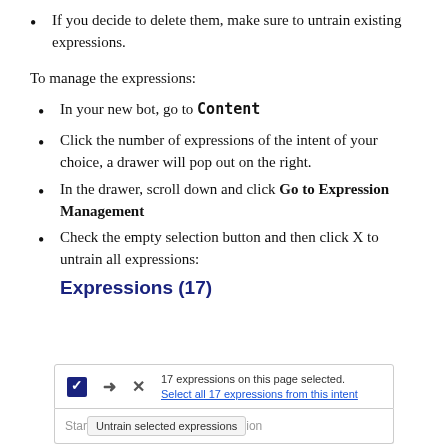If you decide to delete them, make sure to untrain existing expressions.
To manage the expressions:
In your new bot, go to Content
Click the number of expressions of the intent of your choice, a drawer will pop out on the right.
In the drawer, scroll down and click Go to Expression Management
Check the empty selection button and then click X to untrain all expressions:
Expressions (17)
[Figure (screenshot): Screenshot of expression management UI showing a checked checkbox, share and delete icons, text '17 expressions on this page selected. Select all 17 expressions from this intent', and an 'Untrain selected expressions' tooltip button below a text input.]